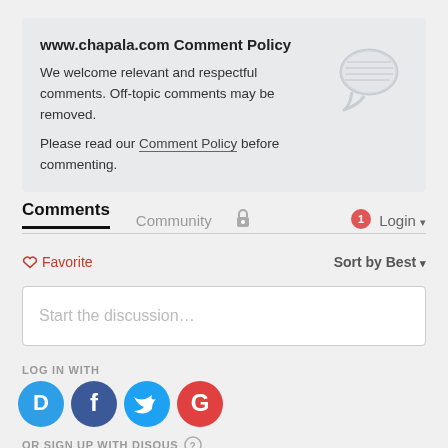www.chapala.com Comment Policy
We welcome relevant and respectful comments. Off-topic comments may be removed.
Please read our Comment Policy before commenting.
[Figure (illustration): Chat bubble icon, light gray outline]
Comments   Community   🔒   1   Login ▾
♡ Favorite   Sort by Best ▾
Start the discussion…
LOG IN WITH
[Figure (logo): Disqus, Facebook, Twitter, Google social login icons]
OR SIGN UP WITH DISQUS ?